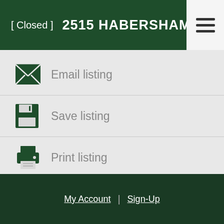[ Closed ]  2515 HABERSHAM ROAD N
Email listing
Save listing
Print listing
My Account | Sign-Up